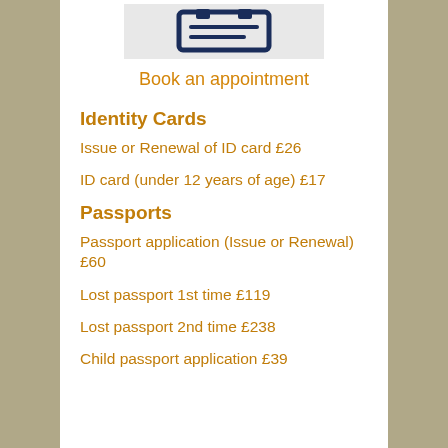[Figure (illustration): Icon of a calendar/booking form in dark navy blue on a light grey background]
Book an appointment
Identity Cards
Issue or Renewal of ID card £26
ID card (under 12 years of age) £17
Passports
Passport application (Issue or Renewal) £60
Lost passport 1st time £119
Lost passport 2nd time £238
Child passport application £39